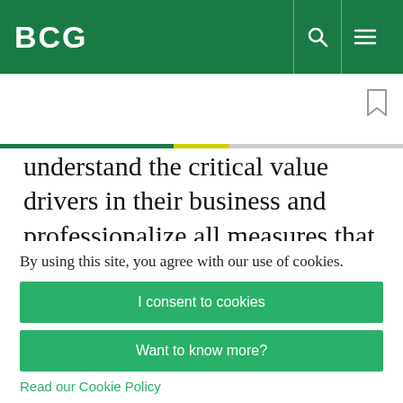BCG
understand the critical value drivers in their business and professionalize all measures that help optimize these drivers. For example, many players
Subscribe to our Power and Utilities E-Alert.
protected by reCaptcha
By using this site, you agree with our use of cookies.
I consent to cookies
Want to know more?
Read our Cookie Policy